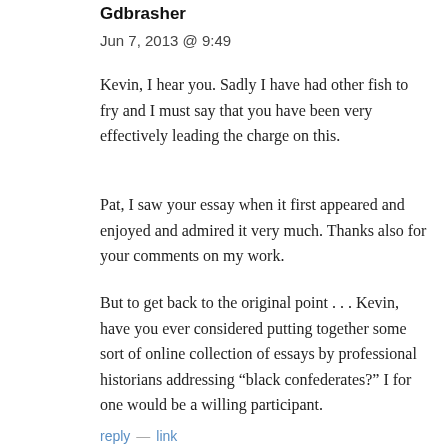Gdbrasher
Jun 7, 2013 @ 9:49
Kevin, I hear you. Sadly I have had other fish to fry and I must say that you have been very effectively leading the charge on this.
Pat, I saw your essay when it first appeared and enjoyed and admired it very much. Thanks also for your comments on my work.
But to get back to the original point . . . Kevin, have you ever considered putting together some sort of online collection of essays by professional historians addressing “black confederates?” I for one would be a willing participant.
reply   link